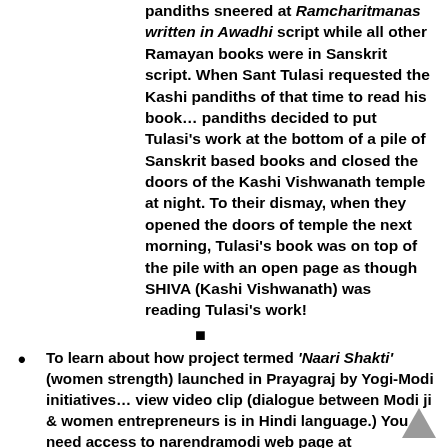pandiths sneered at Ramcharitmanas written in Awadhi script while all other Ramayan books were in Sanskrit script. When Sant Tulasi requested the Kashi pandiths of that time to read his book… pandiths decided to put Tulasi's work at the bottom of a pile of Sanskrit based books and closed the doors of the Kashi Vishwanath temple at night. To their dismay, when they opened the doors of temple the next morning, Tulasi's book was on top of the pile with an open page as though SHIVA (Kashi Vishwanath) was reading Tulasi's work!
To learn about how project termed 'Naari Shakti' (women strength) launched in Prayagraj by Yogi-Modi initiatives… view video clip (dialogue between Modi ji & women entrepreneurs is in Hindi language.) You need access to narendramodi web page at www.facebook.com to access the